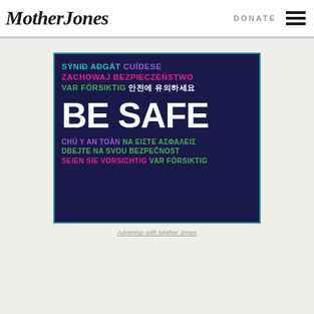Mother Jones | DONATE
[Figure (illustration): Dark navy blue square advertisement with multilingual 'BE SAFE' text. Top lines in teal: 'SÝNIĐ AÐGÁT', purple: 'CUÍDESE', pink: 'ZACHOWAJ BEZPIECZEŃSTWO', green: 'VAR FÖRSIKTIG', white Korean text '안전에 유의하세요'. Center: large white bold 'BE SAFE'. Bottom: purple 'CHÚ Ý AN TOÀN', green 'NA ΕΙΣΤΕ ΑΣΦΑΛΕΙΣ', green 'DBEJTE NA SVOU BEZPEČNOST', magenta 'SEIEN SIE VORSICHTIG', green 'VAR FÖRSIKTIG'. Teal border around box.]
Advertise with Mother Jones